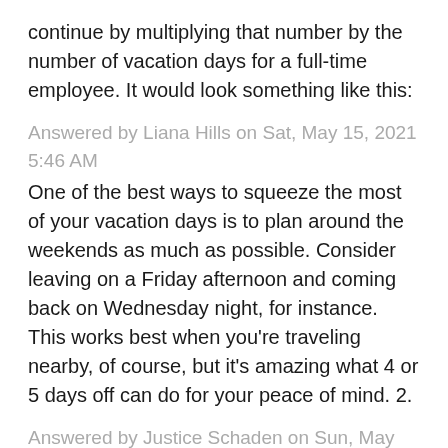continue by multiplying that number by the number of vacation days for a full-time employee. It would look something like this:
Answered by Liana Hills on Sat, May 15, 2021 5:46 AM
One of the best ways to squeeze the most of your vacation days is to plan around the weekends as much as possible. Consider leaving on a Friday afternoon and coming back on Wednesday night, for instance. This works best when you're traveling nearby, of course, but it's amazing what 4 or 5 days off can do for your peace of mind. 2.
Answered by Justice Schaden on Sun, May 16, 2021 10:03 AM
Long days at the theme park or days where you are constantly on the go mean you'll need some way to